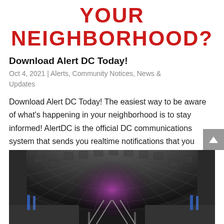YOUR NEIGHBORHOOD?
Download Alert DC Today!
Oct 4, 2021 | Alerts, Community Notices, News & Updates
Download Alert DC Today! The easiest way to be aware of what’s happening in your neighborhood is to stay informed! AlertDC is the official DC communications system that sends you realtime notifications that you want. Download the app to your phone.  Visit…
[Figure (photo): Interior of a Washington DC Metro station showing the arched coffered ceiling, escalators, and train platform with colorful lights in the distance.]